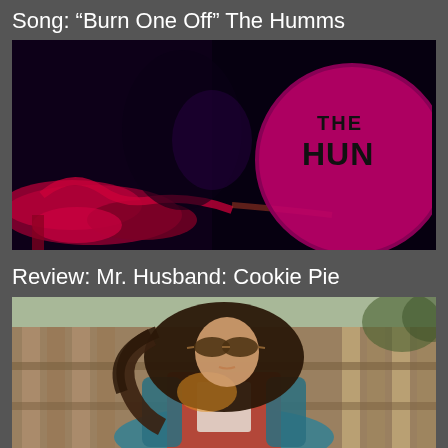Song: “Burn One Off” The Humms
[Figure (photo): Dark concert photo with red/magenta lighting showing band instruments and a drum with 'THE HUM' text visible on a round drum head]
Review: Mr. Husband: Cookie Pie
[Figure (photo): Photo of a man with long hair and aviator sunglasses wearing a red vest and teal jacket, standing in front of a wooden fence]